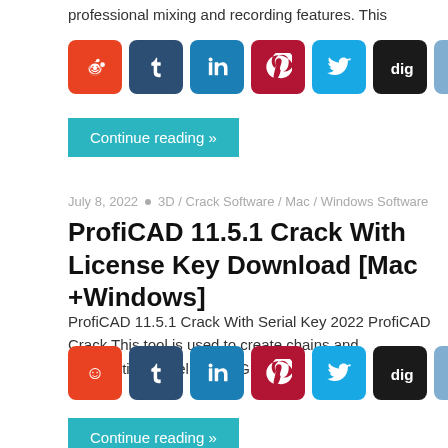professional mixing and recording features. This
[Figure (infographic): Row of social share buttons: Reddit, Tumblr, LinkedIn, Pinterest, Twitter, Digg, Delicious, Plus]
Continue reading »
July 8, 2022  •  3D / Crack Software / Mac / Windows Software
ProfiCAD 11.5.1 Crack With License Key Download [Mac +Windows]
ProfiCAD 11.5.1 Crack With Serial Key 2022 ProfiCAD Crack This tool is used to create chains and pneumatics. CorelDRAW Graphics
[Figure (infographic): Row of social share buttons: Reddit, Tumblr, LinkedIn, Pinterest, Twitter, Digg, Delicious, Plus]
Continue reading »